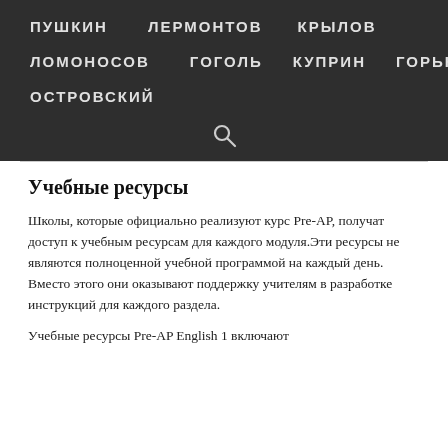ПУШКИН   ЛЕРМОНТОВ   КРЫЛОВ
ЛОМОНОСОВ   ГОГОЛЬ   КУПРИН   ГОРЬКИЙ
ОСТРОВСКИЙ
Учебные ресурсы
Школы, которые официально реализуют курс Pre-AP, получат доступ к учебным ресурсам для каждого модуля.Эти ресурсы не являются полноценной учебной программой на каждый день. Вместо этого они оказывают поддержку учителям в разработке инструкций для каждого раздела.
Учебные ресурсы Pre-AP English 1 включают